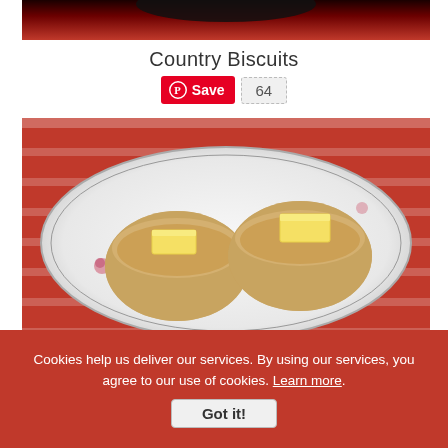[Figure (photo): Partial photo of food/biscuits on red striped cloth, top portion cropped]
Country Biscuits
[Figure (other): Pinterest Save button with count 64]
[Figure (photo): Photo of two country biscuits sliced open with butter pats on a decorative white plate with floral pattern, on a red striped tablecloth]
Country Biscuit Sliced with Butter
Cookies help us deliver our services. By using our services, you agree to our use of cookies. Learn more.
Got it!